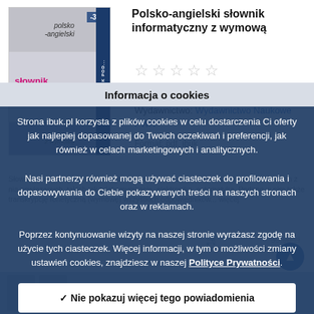[Figure (illustration): Book cover: Polsko-angielski słownik informatyczny z wymową, with -30% discount badge, pink title text on grey background, dark blue spine]
Polsko-angielski słownik informatyczny z wymową
Praca zbiorowa
Wydawnictwo: Wydawnictwo Naukowe PWN
Format: pdf, ibuk
Słownik zawiera ok. 22 000 polskich terminów z zakresu informatyki, a także z dziedzin z nią powiązanych, takich jak telekomunikacja, elektronika, automatyka. Podano w nim także transkrypcję fonetyczną (wymowę) wszystkich odpowiedników... więcej
27,30 zł 39,00 zł
Informacja o cookies
Strona ibuk.pl korzysta z plików cookies w celu dostarczenia Ci oferty jak najlepiej dopasowanej do Twoich oczekiwań i preferencji, jak również w celach marketingowych i analitycznych.
Nasi partnerzy również mogą używać ciasteczek do profilowania i dopasowywania do Ciebie pokazywanych treści na naszych stronach oraz w reklamach.
Poprzez kontynuowanie wizyty na naszej stronie wyrażasz zgodę na użycie tych ciasteczek. Więcej informacji, w tym o możliwości zmiany ustawień cookies, znajdziesz w naszej Polityce Prywatności.
✓ Nie pokazuj więcej tego powiadomienia